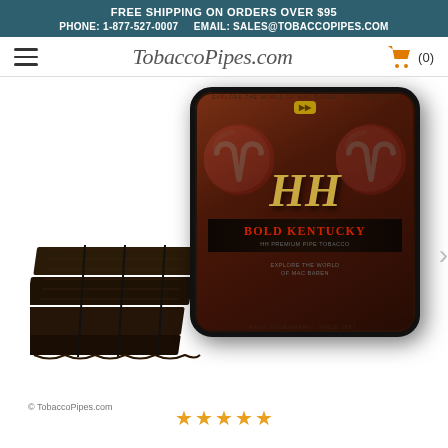FREE SHIPPING ON ORDERS OVER $95 | PHONE: 1-877-527-0007 | EMAIL: SALES@TOBACCOPIPES.COM
[Figure (logo): TobaccoPipes.com website logo with hamburger menu and shopping cart icon showing (0) items]
[Figure (photo): Mac Baren HH Bold Kentucky pipe tobacco product photo showing a dark brown square tin and tobacco cake slices in front. The tin has gold HH lettering, a red 'Bold Kentucky' label, and decorative angel/figure artwork on the sides. Watermark reads '© TobaccoPipes.com']
© TobaccoPipes.com